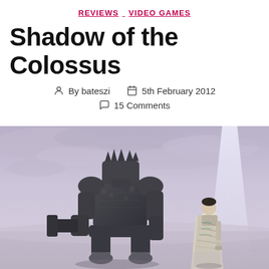REVIEWS  VIDEO GAMES
Shadow of the Colossus
By bateszi   5th February 2012   15 Comments
[Figure (photo): Screenshot from Shadow of the Colossus game showing a large stone colossus creature facing a small human character (Wander), against a dramatic grey-purple cloudy sky with a beam of light in the background.]